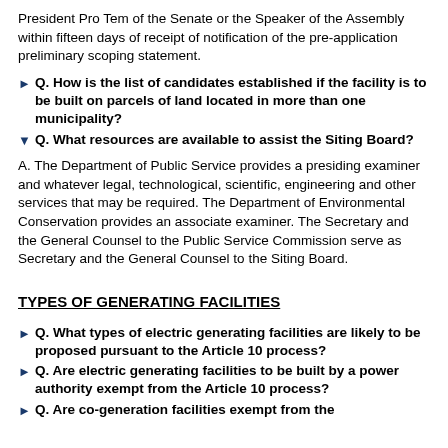President Pro Tem of the Senate or the Speaker of the Assembly within fifteen days of receipt of notification of the pre-application preliminary scoping statement.
Q. How is the list of candidates established if the facility is to be built on parcels of land located in more than one municipality?
Q. What resources are available to assist the Siting Board?
A. The Department of Public Service provides a presiding examiner and whatever legal, technological, scientific, engineering and other services that may be required. The Department of Environmental Conservation provides an associate examiner. The Secretary and the General Counsel to the Public Service Commission serve as Secretary and the General Counsel to the Siting Board.
TYPES OF GENERATING FACILITIES
Q. What types of electric generating facilities are likely to be proposed pursuant to the Article 10 process?
Q. Are electric generating facilities to be built by a power authority exempt from the Article 10 process?
Q. Are co-generation facilities exempt from the...